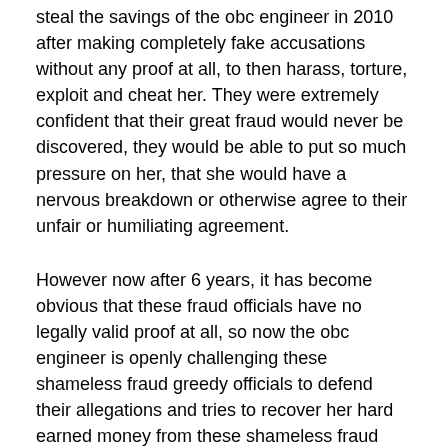steal the savings of the obc engineer in 2010 after making completely fake accusations without any proof at all, to then harass, torture, exploit and cheat her. They were extremely confident that their great fraud would never be discovered, they would be able to put so much pressure on her, that she would have a nervous breakdown or otherwise agree to their unfair or humiliating agreement.
However now after 6 years, it has become obvious that these fraud officials have no legally valid proof at all, so now the obc engineer is openly challenging these shameless fraud greedy officials to defend their allegations and tries to recover her hard earned money from these shameless fraud officials
Now the bank authorities also be careful because these fraud top intelligence and security agency officials will try to commit a fraud on them causing